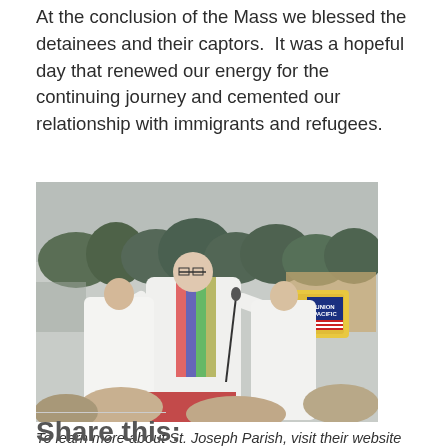At the conclusion of the Mass we blessed the detainees and their captors.  It was a hopeful day that renewed our energy for the continuing journey and cemented our relationship with immigrants and refugees.
[Figure (photo): Outdoor Catholic Mass with clergy in white vestments and colorful stoles at a podium with a microphone. Union Pacific sign visible in background. Trees and overcast sky behind. Congregation members visible in foreground.]
To learn more about St. Joseph Parish, visit their website here.
Share this: